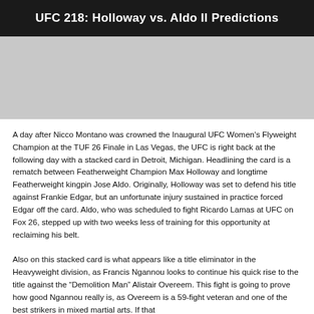UFC 218: Holloway vs. Aldo II Predictions
[Figure (photo): Photo or image related to UFC 218 event]
A day after Nicco Montano was crowned the Inaugural UFC Women's Flyweight Champion at the TUF 26 Finale in Las Vegas, the UFC is right back at the following day with a stacked card in Detroit, Michigan. Headlining the card is a rematch between Featherweight Champion Max Holloway and longtime Featherweight kingpin Jose Aldo. Originally, Holloway was set to defend his title against Frankie Edgar, but an unfortunate injury sustained in practice forced Edgar off the card. Aldo, who was scheduled to fight Ricardo Lamas at UFC on Fox 26, stepped up with two weeks less of training for this opportunity at reclaiming his belt.
Also on this stacked card is what appears like a title eliminator in the Heavyweight division, as Francis Ngannou looks to continue his quick rise to the title against the “Demolition Man” Alistair Overeem. This fight is going to prove how good Ngannou really is, as Overeem is a 59-fight veteran and one of the best strikers in mixed martial arts. If that